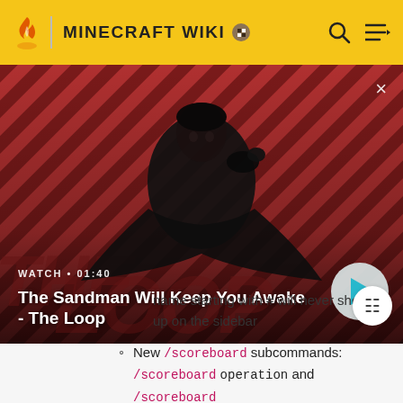MINECRAFT WIKI
[Figure (screenshot): Video thumbnail for 'The Sandman Will Keep You Awake - The Loop' with a dark-cloaked figure against a red diagonal-striped background. Shows WATCH • 01:40 label and a play button.]
name starting with # will never show up on the sidebar
New /scoreboard subcommands: /scoreboard operation and /scoreboard test